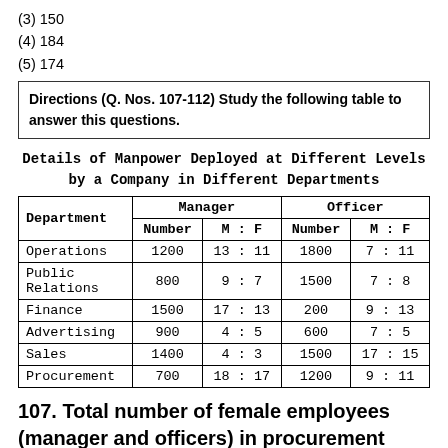(3) 150
(4) 184
(5) 174
Directions (Q. Nos. 107-112) Study the following table to answer this questions.
Details of Manpower Deployed at Different Levels by a Company in Different Departments
| Department | Manager Number | Manager M : F | Officer Number | Officer M : F |
| --- | --- | --- | --- | --- |
| Operations | 1200 | 13 : 11 | 1800 | 7 : 11 |
| Public Relations | 800 | 9 : 7 | 1500 | 7 : 8 |
| Finance | 1500 | 17 : 13 | 200 | 9 : 13 |
| Advertising | 900 | 4 : 5 | 600 | 7 : 5 |
| Sales | 1400 | 4 : 3 | 1500 | 17 : 15 |
| Procurement | 700 | 18 : 17 | 1200 | 9 : 11 |
107. Total number of female employees (manager and officers) in procurement